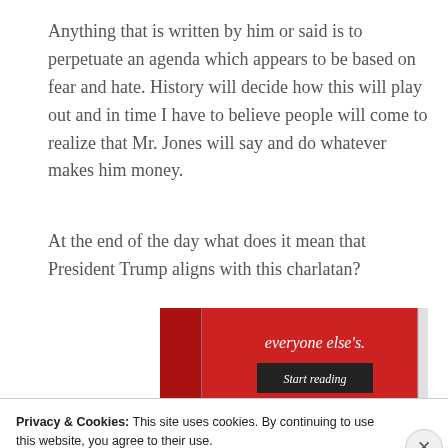Anything that is written by him or said is to perpetuate an agenda which appears to be based on fear and hate. History will decide how this will play out and in time I have to believe people will come to realize that Mr. Jones will say and do whatever makes him money.
At the end of the day what does it mean that President Trump aligns with this charlatan?
[Figure (illustration): Red advertisement banner with white italic text 'everyone else's.' and a dark 'Start reading' button]
Privacy & Cookies: This site uses cookies. By continuing to use this website, you agree to their use.
To find out more, including how to control cookies, see here: Cookie Policy
Close and accept